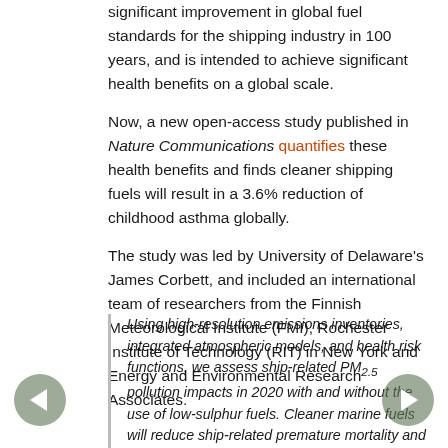significant improvement in global fuel standards for the shipping industry in 100 years, and is intended to achieve significant health benefits on a global scale.
Now, a new open-access study published in Nature Communications quantifies these health benefits and finds cleaner shipping fuels will result in a 3.6% reduction of childhood asthma globally.
The study was led by University of Delaware's James Corbett, and included an international team of researchers from the Finnish Meteorological Institute (FMI), Rochester Institute of Technology (RIT) in New York and Energy and Environmental Research Associates.
Using high-resolution emissions inventories, integrated atmospheric models, and health risk functions, we assess ship-related PM2.5 pollution impacts in 2020 with and without the use of low-sulphur fuels. Cleaner marine fuels will reduce ship-related premature mortality and morbidity by 34 and 54%, respectively, representing a ~ 2.6% global reduction in PM2.5 cardiovascular and lung cancer deaths and a ~3.6% global reduction in childhood asthma. Despite these reductions, low-